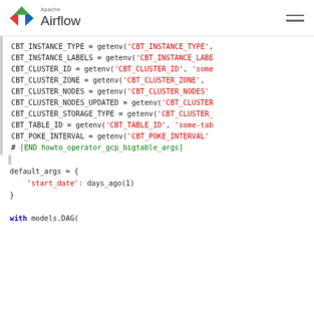Apache Airflow
[Figure (screenshot): Apache Airflow logo with red/green/blue windmill icon and text 'Apache Airflow']
CBT_INSTANCE_TYPE = getenv('CBT_INSTANCE_TYPE',...
CBT_INSTANCE_LABELS = getenv('CBT_INSTANCE_LABE...
CBT_CLUSTER_ID = getenv('CBT_CLUSTER_ID', 'some...
CBT_CLUSTER_ZONE = getenv('CBT_CLUSTER_ZONE',...
CBT_CLUSTER_NODES = getenv('CBT_CLUSTER_NODES',...
CBT_CLUSTER_NODES_UPDATED = getenv('CBT_CLUSTER...
CBT_CLUSTER_STORAGE_TYPE = getenv('CBT_CLUSTER_...
CBT_TABLE_ID = getenv('CBT_TABLE_ID', 'some-tab...
CBT_POKE_INTERVAL = getenv('CBT_POKE_INTERVAL',...
# [END howto_operator_gcp_bigtable_args]

default_args = {
    'start_date': days_ago(1)
}

with models.DAG(